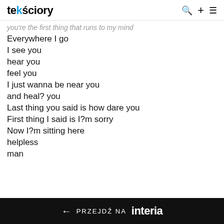tekściory
you're the first thing that runs to my mind
Everywhere I go
I see you
hear you
feel you
I just wanna be near you
and heal? you
Last thing you said is how dare you
First thing I said is I?m sorry
Now I?m sitting here
helpless
man
← PRZEJDŹ NA interia